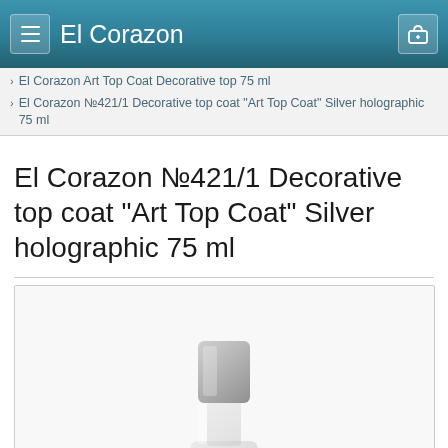El Corazon
> El Corazon Art Top Coat Decorative top 75 ml
> El Corazon №421/1 Decorative top coat "Art Top Coat" Silver holographic 75 ml
El Corazon №421/1 Decorative top coat "Art Top Coat" Silver holographic 75 ml
[Figure (photo): Product photo of El Corazon nail polish bottle - a clear bottle with a gray/silver cap, partially visible at the bottom of the image on a white background]